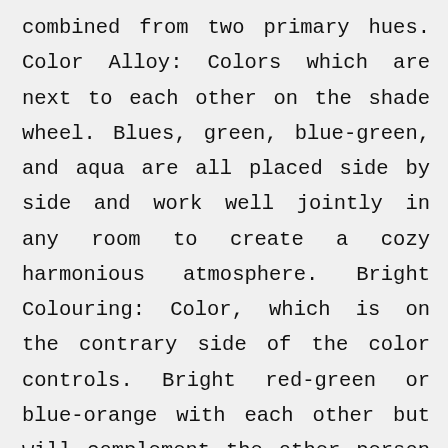combined from two primary hues. Color Alloy: Colors which are next to each other on the shade wheel. Blues, green, blue-green, and aqua are all placed side by side and work well jointly in any room to create a cozy harmonious atmosphere. Bright Colouring: Color, which is on the contrary side of the color controls. Bright red-green or blue-orange with each other but will complement the other person and will create an intense and vibrant atmosphere. Color might have a strong effect on the feel with the room. Fresh color: The right side of the color controls consists of colors like green and blue. These hues will create a cool calm atmosphere. They will also make the room search smaller so avoid using lots of colors in the small place. Warm Color: The left side consists of red, orange, and yellow. These colors will